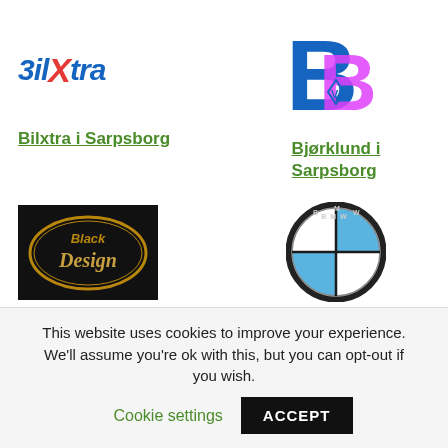[Figure (logo): BilXtra logo — stylized text with blue and red italic lettering]
[Figure (logo): Bjørklund logo — large blue B with pink B and small V diamond symbol]
Bilxtra i Sarpsborg
Bjørklund i Sarpsborg
[Figure (logo): Black Design logo — gold oval on black background with text Black Design]
[Figure (logo): BMW logo — circular roundel with blue and white quadrants and BMW text]
Black Design i Sarpsborg
BMW i Sarpsborg
This website uses cookies to improve your experience. We'll assume you're ok with this, but you can opt-out if you wish.
Cookie settings
ACCEPT